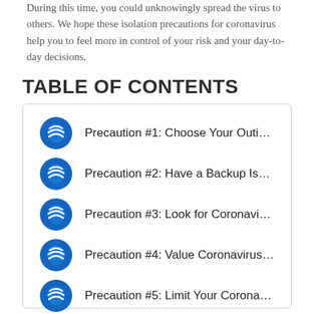During this time, you could unknowingly spread the virus to others. We hope these isolation precautions for coronavirus help you to feel more in control of your risk and your day-to-day decisions.
TABLE OF CONTENTS
Precaution #1: Choose Your Outings ...
Precaution #2: Have a Backup Isolatio...
Precaution #3: Look for Coronavirus P...
Precaution #4: Value Coronavirus Scr...
Precaution #5: Limit Your Coronavirus...